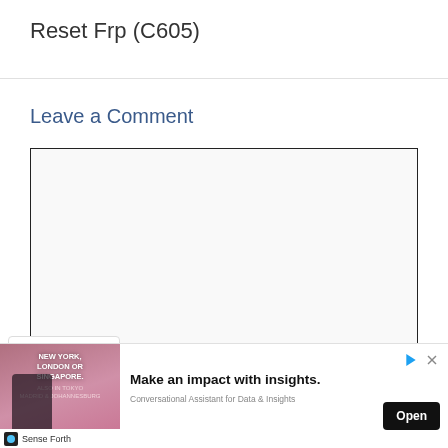Reset Frp (C605)
Leave a Comment
[Figure (screenshot): Empty comment text area input box with a black border]
[Figure (screenshot): Dropdown chevron button widget, white background with border]
[Figure (infographic): Advertisement banner: image of man with luggage, text 'NEW YORK, LONDON OR SINGAPORE.', headline 'Make an impact with insights.', subtext 'Conversational Assistant for Data & Insights', Open button, Sense Forth logo, sponsored icons]